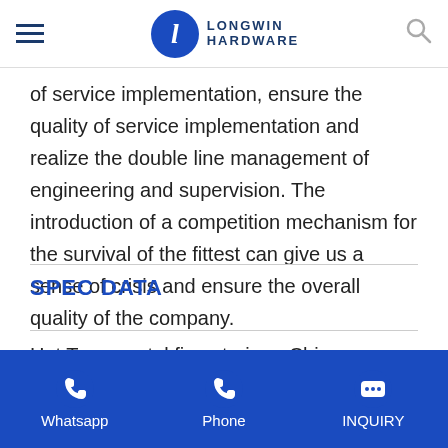Longwin Hardware
of service implementation, ensure the quality of service implementation and realize the double line management of engineering and supervision. The introduction of a competition mechanism for the survival of the fittest can give us a sense of crisis and ensure the overall quality of the company.
SPEC DATA
Hot Tags: metal fine strainer, China, suppliers,
Whatsapp  Phone  INQUIRY